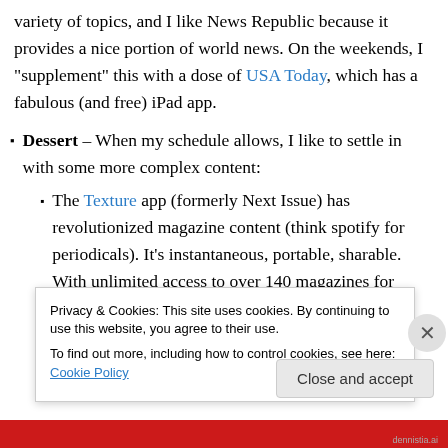variety of topics, and I like News Republic because it provides a nice portion of world news. On the weekends, I “supplement” this with a dose of USA Today, which has a fabulous (and free) iPad app.
Dessert – When my schedule allows, I like to settle in with some more complex content:
The Texture app (formerly Next Issue) has revolutionized magazine content (think spotify for periodicals). It’s instantaneous, portable, sharable. With unlimited access to over 140 magazines for
Privacy & Cookies: This site uses cookies. By continuing to use this website, you agree to their use.
To find out more, including how to control cookies, see here: Cookie Policy
Close and accept